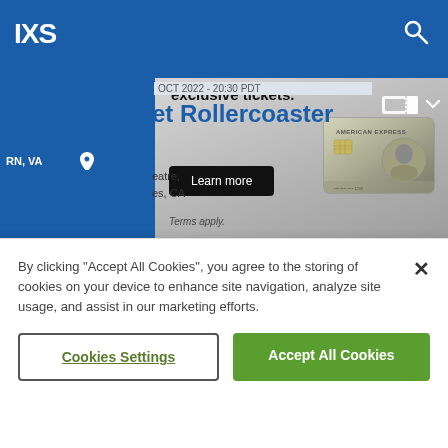IXS
OCT 2022 - 20:30 PDT
et Rollercoaster
eatre,
es, CA
[Figure (screenshot): American Express advertisement banner showing 'exclusive tickets.' text, a 'Learn more' button, 'Terms apply.' text, and an American Express platinum/metal card on a grey background]
By clicking “Accept All Cookies”, you agree to the storing of cookies on your device to enhance site navigation, analyze site usage, and assist in our marketing efforts.
Cookies Settings
Accept All Cookies